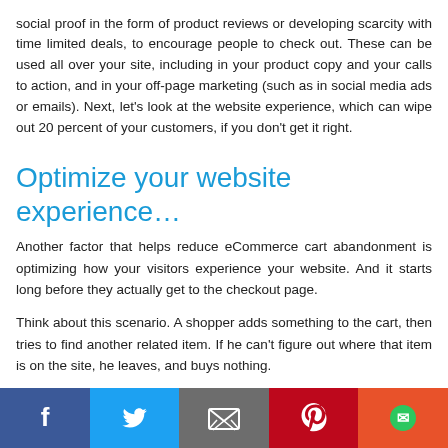social proof in the form of product reviews or developing scarcity with time limited deals, to encourage people to check out. These can be used all over your site, including in your product copy and your calls to action, and in your off-page marketing (such as in social media ads or emails). Next, let's look at the website experience, which can wipe out 20 percent of your customers, if you don't get it right.
Optimize your website experience…
Another factor that helps reduce eCommerce cart abandonment is optimizing how your visitors experience your website. And it starts long before they actually get to the checkout page.
Think about this scenario. A shopper adds something to the cart, then tries to find another related item. If he can't figure out where that item is on the site, he leaves, and buys nothing.
All the eCommerce stats point to a stark fact: people want their shopping personal, relevant, and fast—and they want it to work seamlessly no
[Figure (infographic): Social sharing bar with Facebook (blue), Twitter (light blue), Email (grey), Pinterest (red), and chat/messenger (orange-red) buttons with their respective icons]